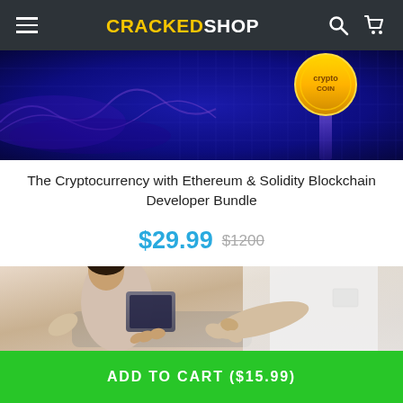CRACKEDSHOP
[Figure (photo): Cryptocurrency themed hero image with dark blue/purple background, decorative blockchain coin and digital grid lines]
The Cryptocurrency with Ethereum & Solidity Blockchain Developer Bundle
$29.99  $1200
[Figure (photo): Photo of two people sitting together, one showing a tablet to the other, hands visible, casual professional setting]
ADD TO CART ($15.99)